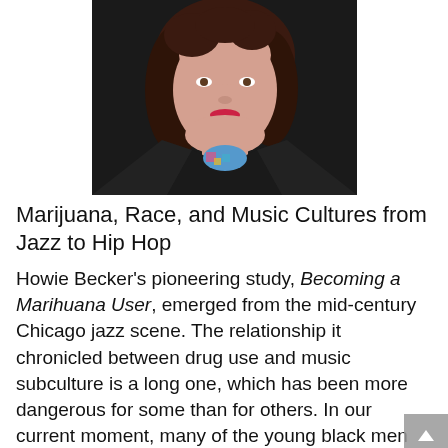[Figure (photo): Portrait photo of a woman with dark curly hair, wearing red lipstick and a black jacket with a colorful patterned top visible at the collar.]
Marijuana, Race, and Music Cultures from Jazz to Hip Hop
Howie Becker's pioneering study, Becoming a Marihuana User, emerged from the mid-century Chicago jazz scene. The relationship it chronicled between drug use and music subculture is a long one, which has been more dangerous for some than for others. In our current moment, many of the young black men whose lives have been taken too